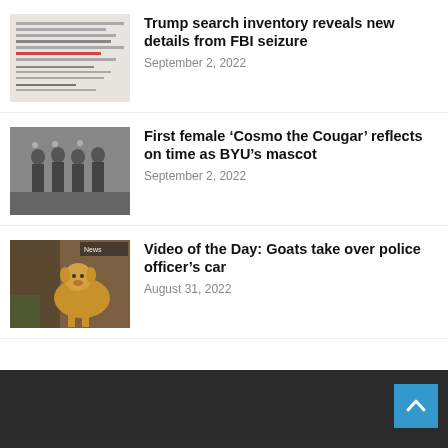[Figure (photo): Scanned government document showing classified folder labels]
Trump search inventory reveals new details from FBI seizure
September 2, 2022
[Figure (photo): Black and white photo of people standing in formal attire]
First female ‘Cosmo the Cougar’ reflects on time as BYU’s mascot
September 2, 2022
[Figure (photo): Photo of a golden/orange goat standing near a vehicle]
Video of the Day: Goats take over police officer’s car
August 31, 2022